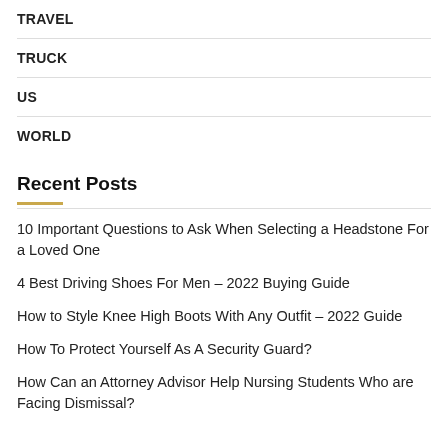TRAVEL
TRUCK
US
WORLD
Recent Posts
10 Important Questions to Ask When Selecting a Headstone For a Loved One
4 Best Driving Shoes For Men – 2022 Buying Guide
How to Style Knee High Boots With Any Outfit – 2022 Guide
How To Protect Yourself As A Security Guard?
How Can an Attorney Advisor Help Nursing Students Who are Facing Dismissal?